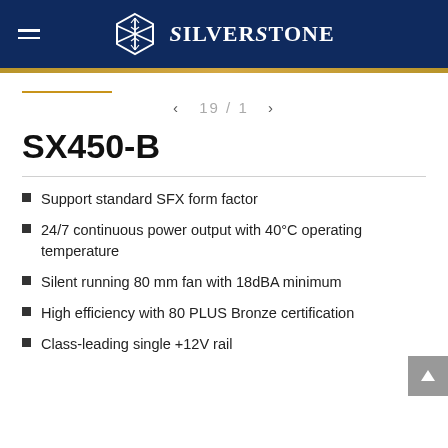SilverStone
19 / 1
SX450-B
Support standard SFX form factor
24/7 continuous power output with 40°C operating temperature
Silent running 80 mm fan with 18dBA minimum
High efficiency with 80 PLUS Bronze certification
Class-leading single +12V rail